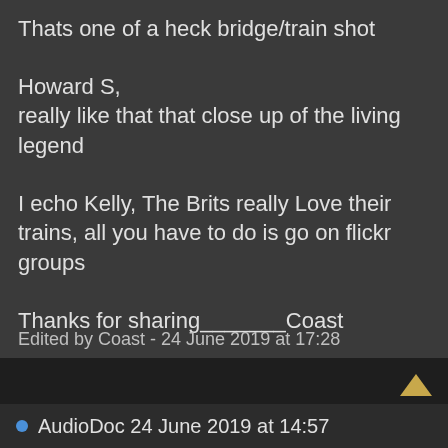Thats one of a heck bridge/train shot
Howard S,
really like that that close up of the living legend
I echo Kelly, The Brits really Love their trains, all you have to do is go on flickr groups
Thanks for sharing_______Coast
Edited by Coast - 24 June 2019 at 17:28
AudioDoc 24 June 2019 at 14:57